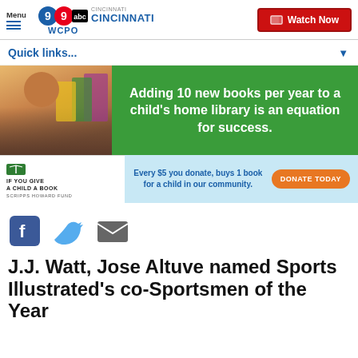Menu | WCPO 9 ABC CINCINNATI | Watch Now
Quick links...
[Figure (infographic): Advertisement banner for Scripps Howard Fund 'If You Give A Child A Book' campaign. Top half: green background with white bold text 'Adding 10 new books per year to a child's home library is an equation for success.' alongside photo of smiling child holding books. Bottom half: light blue background with text 'Every $5 you donate, buys 1 book for a child in our community.' and orange 'DONATE TODAY' button. White section on left shows open book icon, 'IF YOU GIVE A CHILD A BOOK' and 'SCRIPPS HOWARD FUND'.]
[Figure (infographic): Social sharing icons: Facebook (blue square with f), Twitter (blue bird), Email (grey envelope)]
J.J. Watt, Jose Altuve named Sports Illustrated's co-Sportsmen of the Year